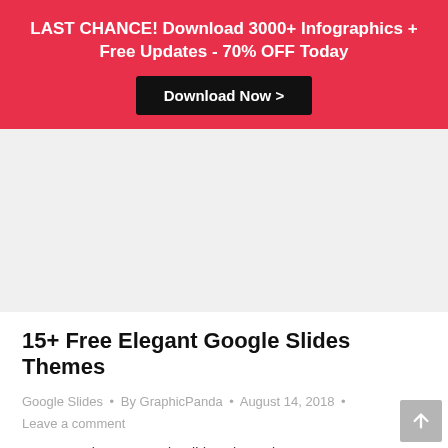LAST CHANCE! Download 3000+ Infographics + Free Updates - 70% OFF Today
Download Now >
[Figure (other): Gray placeholder/advertisement image area]
15+ Free Elegant Google Slides Themes
Google Slides · By GraphicPanda · August 14, 2018 · Leave a comment
15+ Free Elegant Google Slides Theme is a